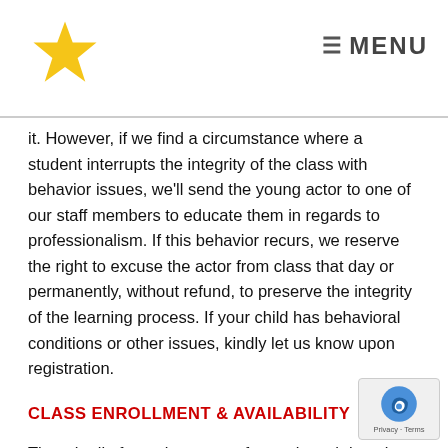MENU
it. However, if we find a circumstance where a student interrupts the integrity of the class with behavior issues, we'll send the young actor to one of our staff members to educate them in regards to professionalism. If this behavior recurs, we reserve the right to excuse the actor from class that day or permanently, without refund, to preserve the integrity of the learning process. If your child has behavioral conditions or other issues, kindly let us know upon registration.
CLASS ENROLLMENT & AVAILABILITY
Though all of our classes are fun and much loved, certain days can sometimes be more popular than others. Whether the reasons are in regard to scheduling, commuting, or a common case of best friends refusing to split up, there have been where the same class is busier one day than the other, due to